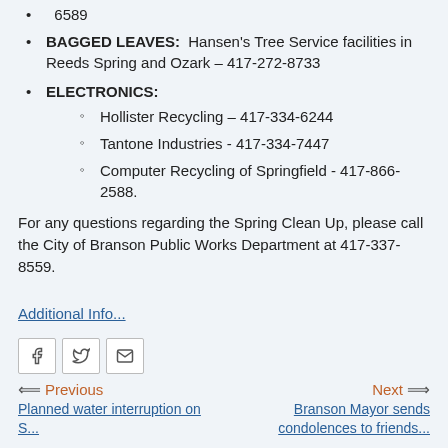BAGGED LEAVES:  Hansen's Tree Service facilities in Reeds Spring and Ozark – 417-272-8733
ELECTRONICS:
Hollister Recycling – 417-334-6244
Tantone Industries - 417-334-7447
Computer Recycling of Springfield - 417-866-2588.
For any questions regarding the Spring Clean Up, please call the City of Branson Public Works Department at 417-337-8559.
Additional Info...
Previous  Planned water interruption on S...
Next  Branson Mayor sends condolences to friends...